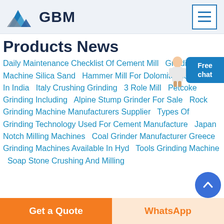GBM
Products News
Daily Maintenance Checklist Of Cement Mill  Grinding Machine Silica Sand  Hammer Mill For Dolomite Mac Saller In India  Italy Crushing Grinding  3 Role Mill  Petcoke Grinding Including  Alpine Stump Grinder For Sale  Rock Grinding Machine Manufacturers Supplier  Types Of Grinding Technology Used For Cement Manufacture  Japan Notch Milling Machines  Coal Grinder Manufacturer Greece  Grinding Machines Available In Hyd  Tools Grinding Machine  Soap Stone Crushing And Milling
Free chat
Get a Quote
WhatsApp